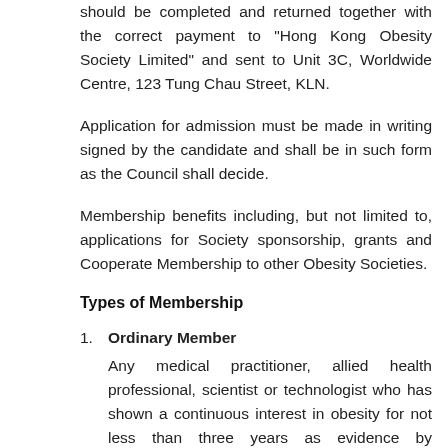should be completed and returned together with the correct payment to “Hong Kong Obesity Society Limited” and sent to Unit 3C, Worldwide Centre, 123 Tung Chau Street, KLN.
Application for admission must be made in writing signed by the candidate and shall be in such form as the Council shall decide.
Membership benefits including, but not limited to, applications for Society sponsorship, grants and Cooperate Membership to other Obesity Societies.
Types of Membership
Ordinary Member — Any medical practitioner, allied health professional, scientist or technologist who has shown a continuous interest in obesity for not less than three years as evidence by publications, teaching or attendance at conferences on obesity, is engaged in work